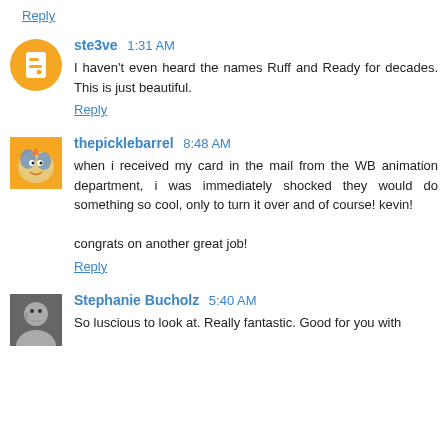Reply
ste3ve  1:31 AM
I haven't even heard the names Ruff and Ready for decades. This is just beautiful.
Reply
thepicklebarrel  8:48 AM
when i received my card in the mail from the WB animation department, i was immediately shocked they would do something so cool, only to turn it over and of course! kevin!

congrats on another great job!
Reply
Stephanie Bucholz  5:40 AM
So luscious to look at. Really fantastic. Good for you with